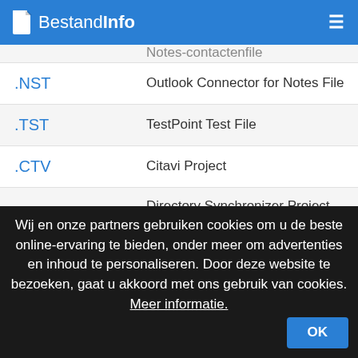BestandInfo
| Extension | Description |
| --- | --- |
| .NST | Outlook Connector for Notes File |
| .TST | TestPoint Test File |
| .CTV | Citavi Project |
| .DSY | Directory Synchronizer Project File |
| .PD4 | Clone Manager Primer File |
| .PD4 | Windows Live Photo Gallery Information File |
Wij en onze partners gebruiken cookies om u de beste online-ervaring te bieden, onder meer om advertenties en inhoud te personaliseren. Door deze website te bezoeken, gaat u akkoord met ons gebruik van cookies. Meer informatie. OK